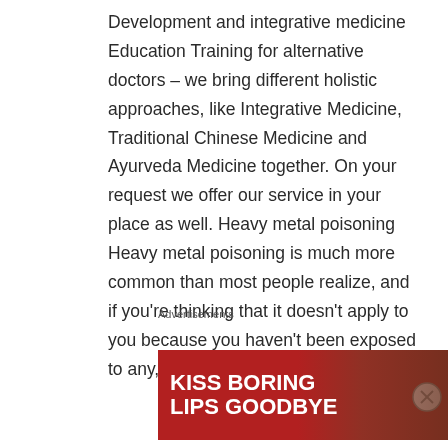Development and integrative medicine Education Training for alternative doctors – we bring different holistic approaches, like Integrative Medicine, Traditional Chinese Medicine and Ayurveda Medicine together. On your request we offer our service in your place as well. Heavy metal poisoning Heavy metal poisoning is much more common than most people realize, and if you're thinking that it doesn't apply to you because you haven't been exposed to any, think again. If
Advertisements
[Figure (other): Advertisement banner: KISS BORING LIPS GOODBYE with SHOP NOW and Macy's logo on red background with a woman's face]